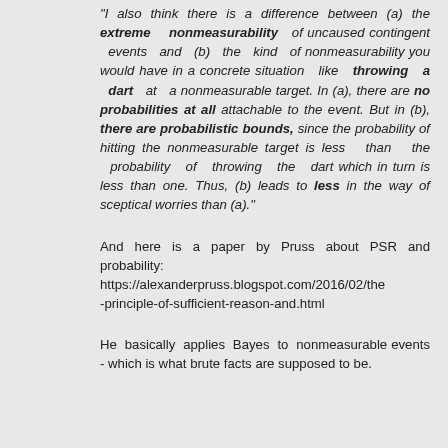"I also think there is a difference between (a) the extreme nonmeasurability of uncaused contingent events and (b) the kind of nonmeasurability you would have in a concrete situation like throwing a dart at a nonmeasurable target. In (a), there are no probabilities at all attachable to the event. But in (b), there are probabilistic bounds, since the probability of hitting the nonmeasurable target is less than the probability of throwing the dart which in turn is less than one. Thus, (b) leads to less in the way of sceptical worries than (a)."
And here is a paper by Pruss about PSR and probability: https://alexanderpruss.blogspot.com/2016/02/the-principle-of-sufficient-reason-and.html
He basically applies Bayes to nonmeasurable events - which is what brute facts are supposed to be.